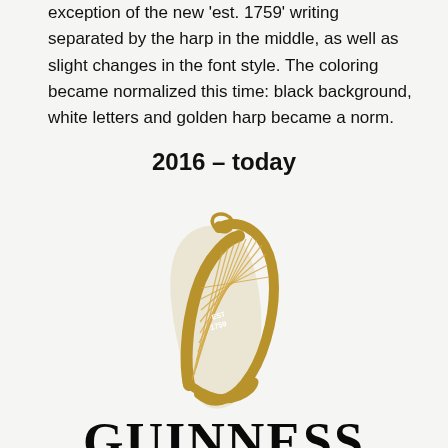exception of the new 'est. 1759' writing separated by the harp in the middle, as well as slight changes in the font style. The coloring became normalized this time: black background, white letters and golden harp became a norm.
2016 – today
[Figure (logo): Guinness logo: golden harp with 'est 1759' text, above the word GUINNESS in bold serif capitals]